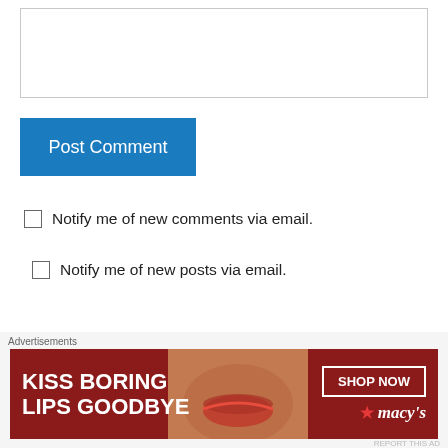[Figure (screenshot): Text area input box for comment]
[Figure (screenshot): Blue Post Comment button]
Notify me of new comments via email.
Notify me of new posts via email.
This site uses Akismet to reduce spam. Learn how your comment data is processed.
Timescout on January 1, 2018 at 3:20 am
[Figure (photo): Macy's advertisement: KISS BORING LIPS GOODBYE with SHOP NOW button and Macy's logo]